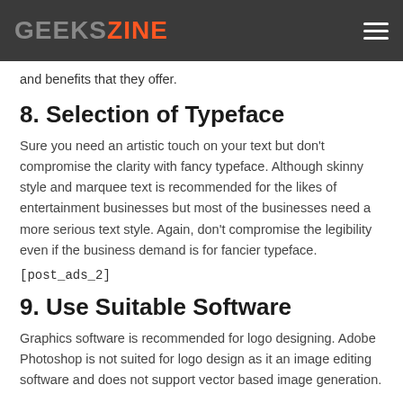GEEKSZINE
and benefits that they offer.
8. Selection of Typeface
Sure you need an artistic touch on your text but don't compromise the clarity with fancy typeface. Although skinny style and marquee text is recommended for the likes of entertainment businesses but most of the businesses need a more serious text style. Again, don't compromise the legibility even if the business demand is for fancier typeface.
[post_ads_2]
9. Use Suitable Software
Graphics software is recommended for logo designing. Adobe Photoshop is not suited for logo design as it an image editing software and does not support vector based image generation.